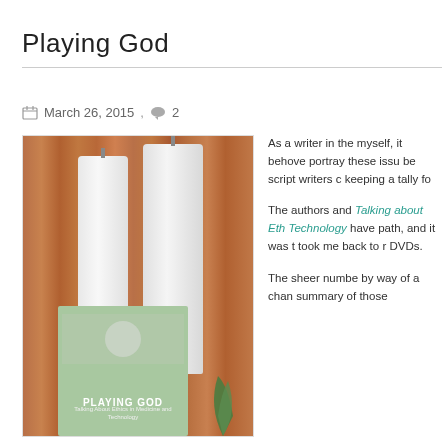Playing God
March 26, 2015 ,  2
[Figure (photo): Photo of two white pillar candles against a wood plank wall, with a copy of the book 'Playing God' and a plant in the foreground]
As a writer in the myself, it behove portray these issu be script writers c keeping a tally fo
The authors and Talking about Eth Technology have path, and it was t took me back to r DVDs.
The sheer numbe by way of a chan summary of those